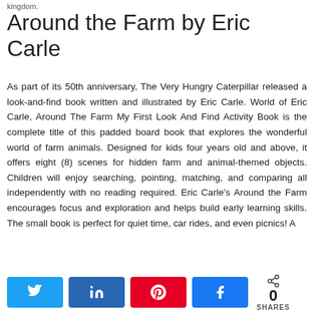kingdom.
Around the Farm by Eric Carle
As part of its 50th anniversary, The Very Hungry Caterpillar released a look-and-find book written and illustrated by Eric Carle. World of Eric Carle, Around The Farm My First Look And Find Activity Book is the complete title of this padded board book that explores the wonderful world of farm animals. Designed for kids four years old and above, it offers eight (8) scenes for hidden farm and animal-themed objects. Children will enjoy searching, pointing, matching, and comparing all independently with no reading required. Eric Carle's Around the Farm encourages focus and exploration and helps build early learning skills. The small book is perfect for quiet time, car rides, and even picnics! A